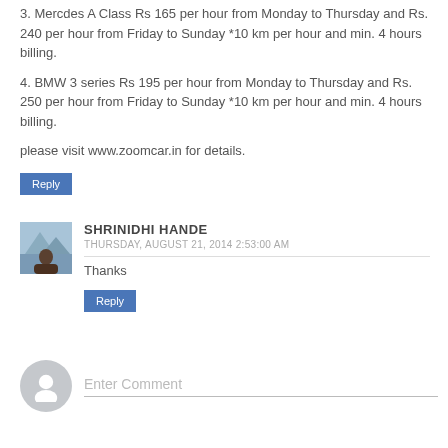3. Mercdes A Class Rs 165 per hour from Monday to Thursday and Rs. 240 per hour from Friday to Sunday *10 km per hour and min. 4 hours billing.
4. BMW 3 series Rs 195 per hour from Monday to Thursday and Rs. 250 per hour from Friday to Sunday *10 km per hour and min. 4 hours billing.
please visit www.zoomcar.in for details.
Reply
SHRINIDHI HANDE
THURSDAY, AUGUST 21, 2014 2:53:00 AM
Thanks
Reply
Enter Comment